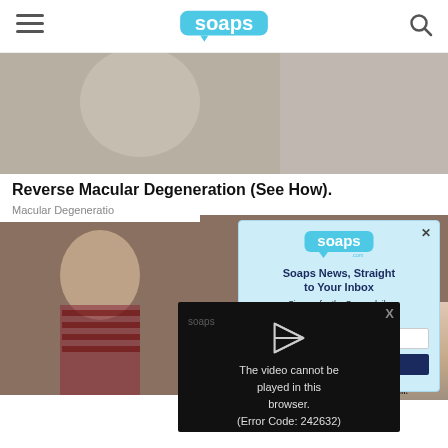soaps.com — navigation header with hamburger menu and search icon
[Figure (screenshot): Background image of two people (blurred) in a room setting]
Reverse Macular Degeneration (See How).
Macular Degeneration
[Figure (photo): Photo of elderly woman with glasses and man in background]
[Figure (screenshot): Soaps.com newsletter signup modal popup with logo, headline 'Soaps News, Straight to Your Inbox', subtext 'Sign up for the Soaps daily newsletter today.', email input field, and subscribe button]
[Figure (screenshot): Video player error overlay showing 'The video cannot be played in this browser. (Error Code: 242632)']
[Figure (photo): Sidebar thumbnail with text 'her?' and 'Adam team!']